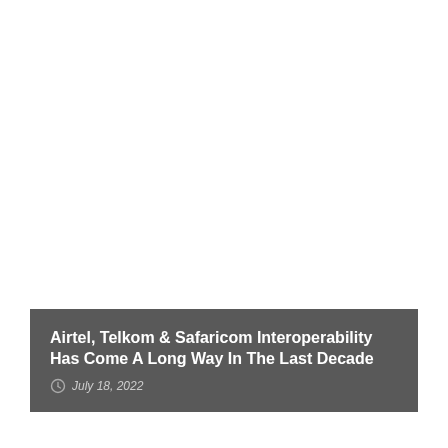Airtel, Telkom & Safaricom Interoperability Has Come A Long Way In The Last Decade
July 18, 2022